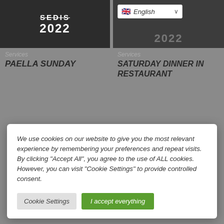[Figure (screenshot): Left card with dark background showing SEDIS 2022 logo text]
Services
PAELLA SUNDAY
[Figure (screenshot): Right card with dark background and English language selector dropdown, showing 2022 text]
Services
SATURDAY DINNER IN RESTAURANT
We use cookies on our website to give you the most relevant experience by remembering your preferences and repeat visits. By clicking "Accept All", you agree to the use of ALL cookies. However, you can visit "Cookie Settings" to provide controlled consent.
Cookie Settings
I accept everything
Copyright © 2022 CLUB SEDIS, AEROMODELISMO I RADIO CONTROL | Powered by CLUB SEDIS AEROMODELISME.